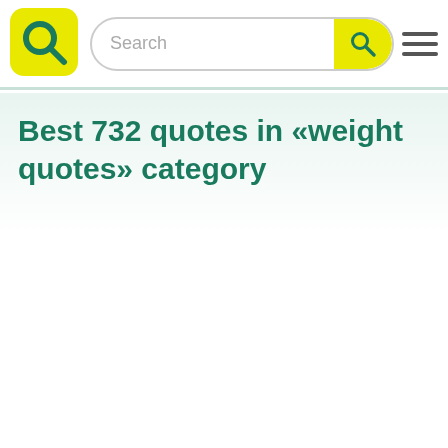Search
Best 732 quotes in «weight quotes» category